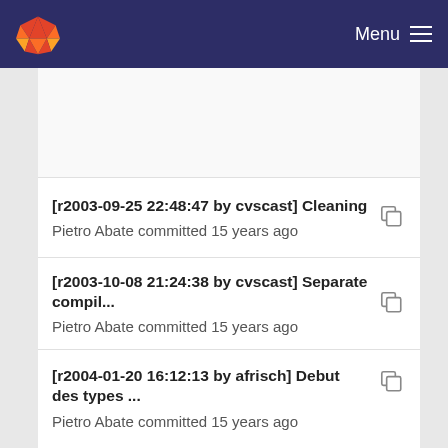Menu
[r2003-09-25 22:48:47 by cvscast] Cleaning
Pietro Abate committed 15 years ago
[r2003-10-08 21:24:38 by cvscast] Separate compil...
Pietro Abate committed 15 years ago
[r2004-01-20 16:12:13 by afrisch] Debut des types ...
Pietro Abate committed 15 years ago
[r2003-10-08 21:45:06 by cvscast] Toplevel and se...
Pietro Abate committed 15 years ago
[r2003-09-24 23:21:08 by cvscast] Cleaning
Pietro Abate committed 15 years ago